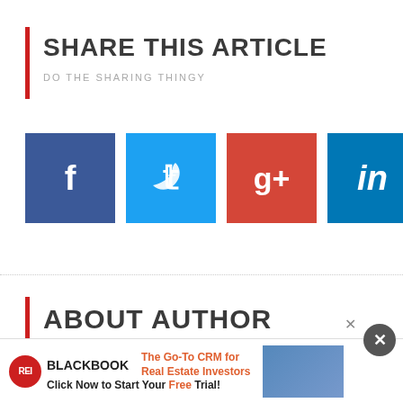SHARE THIS ARTICLE
DO THE SHARING THINGY
[Figure (infographic): Five social media share buttons: Facebook (blue), Twitter (light blue), Google+ (red-orange), LinkedIn (dark blue), Pinterest (red)]
ABOUT AUTHOR
MORE INFO ABOUT AUTHOR
[Figure (infographic): Advertisement banner: REI BLACKBOOK logo, 'The Go-To CRM for Real Estate Investors', 'Click Now to Start Your Free Trial!' with product image]